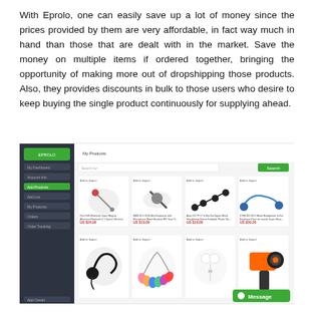With Eprolo, one can easily save up a lot of money since the prices provided by them are very affordable, in fact way much in hand than those that are dealt with in the market. Save the money on multiple items if ordered together, bringing the opportunity of making more out of dropshipping those products. Also, they provides discounts in bulk to those users who desire to keep buying the single product continuously for supplying ahead.
[Figure (screenshot): Screenshot of the Eprolo platform showing a product listing page with various earphones and headphones for sale. Sidebar navigation on the left with dark background, main content area showing product cards with images, names, and prices. A green 'Message' button appears in the bottom right.]